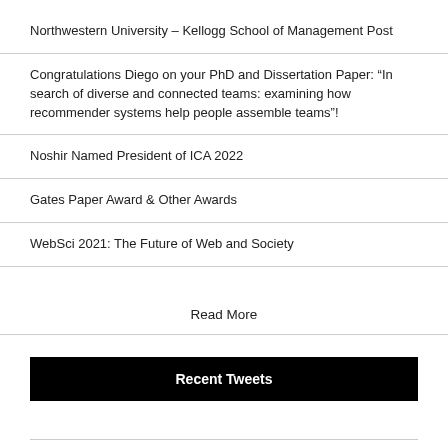Northwestern University – Kellogg School of Management Post
Congratulations Diego on your PhD and Dissertation Paper: “In search of diverse and connected teams: examining how recommender systems help people assemble teams”!
Noshir Named President of ICA 2022
Gates Paper Award & Other Awards
WebSci 2021: The Future of Web and Society
Read More
Recent Tweets